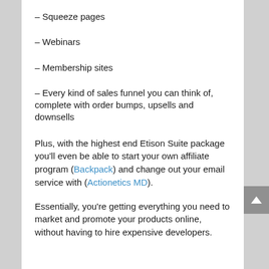– Squeeze pages
– Webinars
– Membership sites
– Every kind of sales funnel you can think of, complete with order bumps, upsells and downsells
Plus, with the highest end Etison Suite package you'll even be able to start your own affiliate program (Backpack) and change out your email service with (Actionetics MD).
Essentially, you're getting everything you need to market and promote your products online, without having to hire expensive developers.